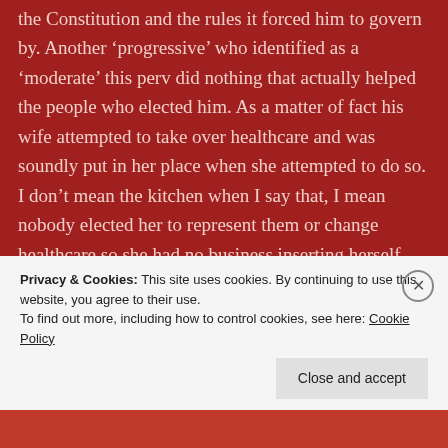the Constitution and the rules it forced him to govern by. Another ‘progressive’ who identified as a ‘moderate’ this perv did nothing that actually helped the people who elected him. As a matter of fact his wife attempted to take over healthcare and was soundly put in her place when she attempted to do so. I don’t mean the kitchen when I say that, I mean nobody elected her to represent them or change healthcare so she had no business inserting herself into a government role. Not only were the Clinton’s morally bankrupt they constantly had smirks on their faces that seemed to say “yeah we are
Privacy & Cookies: This site uses cookies. By continuing to use this website, you agree to their use.
To find out more, including how to control cookies, see here: Cookie Policy